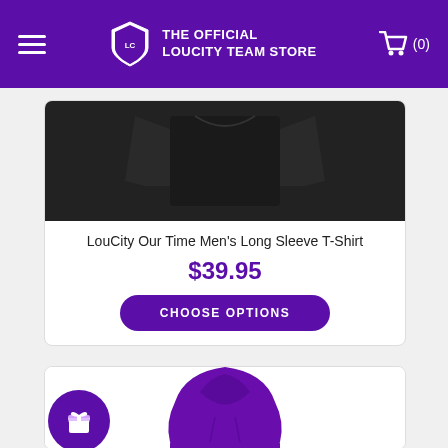THE OFFICIAL LOUCITY TEAM STORE
[Figure (photo): Black long sleeve t-shirt shown flat, front and back view]
LouCity Our Time Men's Long Sleeve T-Shirt
$39.95
CHOOSE OPTIONS
[Figure (photo): Purple Louisville hoodie sweatshirt with LOUISVILLE text on front]